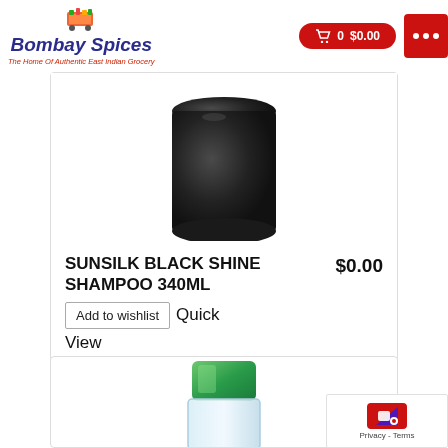[Figure (logo): Bombay Spices logo with shopping cart icon and tagline 'The Home Of Authentic East Indian Grocery']
0  $0.00
[Figure (photo): Black cylindrical shampoo bottle (top portion)]
SUNSILK BLACK SHINE SHAMPOO 340ML
$0.00
Add to wishlist  Quick View
Add to cart
[Figure (photo): Green-capped clear bottle (top portion)]
Privacy - Terms